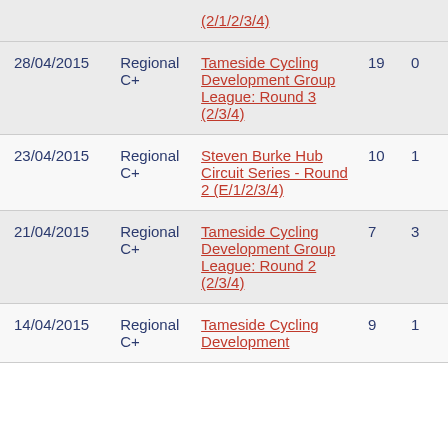| Date | Category | Event | Col4 | Col5 |
| --- | --- | --- | --- | --- |
| (2/1/2/3/4) |  |  |  |  |
| 28/04/2015 | Regional C+ | Tameside Cycling Development Group League: Round 3 (2/3/4) | 19 | 0 |
| 23/04/2015 | Regional C+ | Steven Burke Hub Circuit Series - Round 2 (E/1/2/3/4) | 10 | 1 |
| 21/04/2015 | Regional C+ | Tameside Cycling Development Group League: Round 2 (2/3/4) | 7 | 3 |
| 14/04/2015 | Regional C+ | Tameside Cycling Development | 9 | 1 |